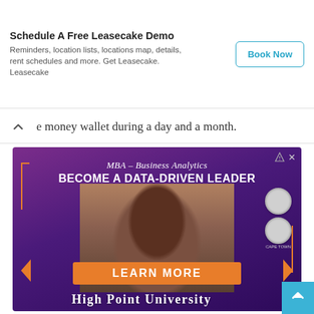[Figure (screenshot): Top advertisement banner for Leasecake with 'Schedule A Free Leasecake Demo' headline, description text, and Book Now button]
e money wallet during a day and a month.
[Figure (photo): High Point University MBA Business Analytics advertisement banner with purple background, smiling woman, orange LEARN MORE button, and university name at bottom]